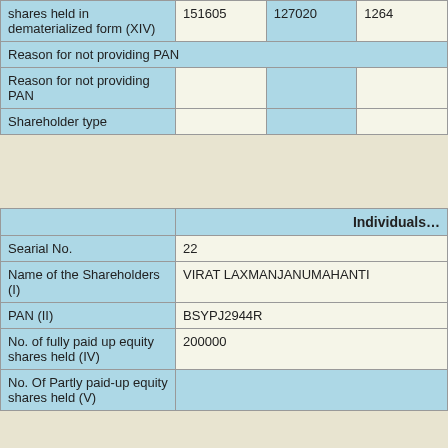|  | Col1 | Col2 | Col3 |
| --- | --- | --- | --- |
| shares held in dematerialized form (XIV) | 151605 | 127020 | 1264… |
| Reason for not providing PAN |  |  |  |
| Reason for not providing PAN |  |  |  |
| Shareholder type |  |  |  |
|  | Individuals… |
| --- | --- |
| Searial No. | 22 |
| Name of the Shareholders (I) | VIRAT LAXMANJANUMAHANTI |
| PAN (II) | BSYPJ2944R |
| No. of fully paid up equity shares held (IV) | 200000 |
| No. Of Partly paid-up equity shares held (V) |  |